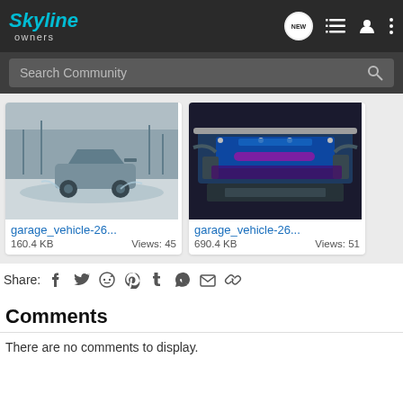Skyline owners
Search Community
[Figure (photo): Silver Nissan Skyline car drifting on a snowy/wet surface, trees in background]
garage_vehicle-26...
160.4 KB    Views: 45
[Figure (photo): Engine bay photo showing a modified engine with blue and purple parts]
garage_vehicle-26...
690.4 KB    Views: 51
Share:
Comments
There are no comments to display.